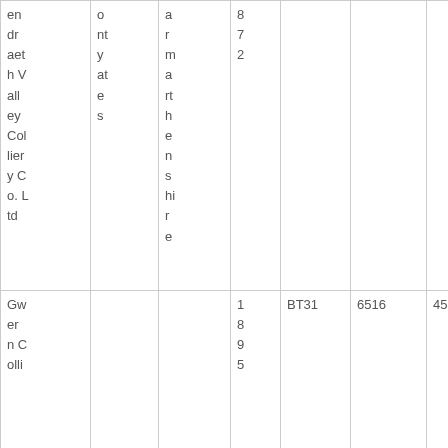| en
dr
aet
h V
all
ey
Col
lier
y C
o. L
td | o
nt
y
at
e
s | a
r
m
a
rt
h
e
n
s
hi
r
e | 8
7
2 |  |  |  |  |
| Gw
er
n C
olli |  |  | 1
8
9
5 | BT31 | 6516 | 45845 |  |